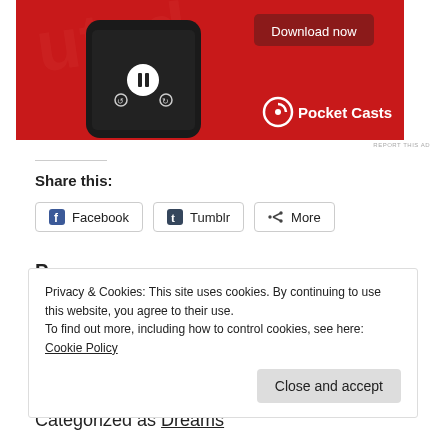[Figure (screenshot): Pocket Casts app advertisement showing a smartphone on a red background with 'Download now' button and Pocket Casts logo/wordmark]
REPORT THIS AD
Share this:
Facebook
Tumblr
More
Privacy & Cookies: This site uses cookies. By continuing to use this website, you agree to their use.
To find out more, including how to control cookies, see here: Cookie Policy
Close and accept
Categorized as Dreams